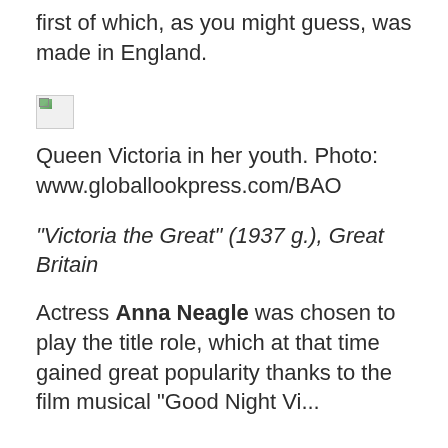first of which, as you might guess, was made in England.
[Figure (photo): Broken/missing image placeholder (small icon with page and image symbol)]
Queen Victoria in her youth. Photo: www.globallookpress.com/BAO
“Victoria the Great” (1937 g.), Great Britain
Actress Anna Neagle was chosen to play the title role, which at that time gained great popularity thanks to the film musical "Good Night Vienna" and he also at the